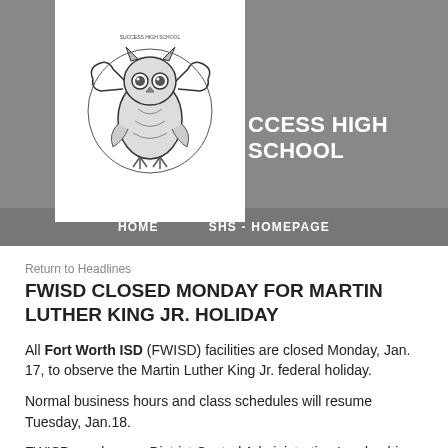[Figure (logo): Owl mascot logo for Success High School with decorative scrollwork and text around border]
CCESS HIGH SCHOOL
HOME   SHS - HOMEPAGE
Return to Headlines
FWISD CLOSED MONDAY FOR MARTIN LUTHER KING JR. HOLIDAY
All Fort Worth ISD (FWISD) facilities are closed Monday, Jan. 17, to observe the Martin Luther King Jr. federal holiday.
Normal business hours and class schedules will resume Tuesday, Jan.18.
FWISD employees, District Central Administration Leadership, Board of Education trustees, and city leaders are